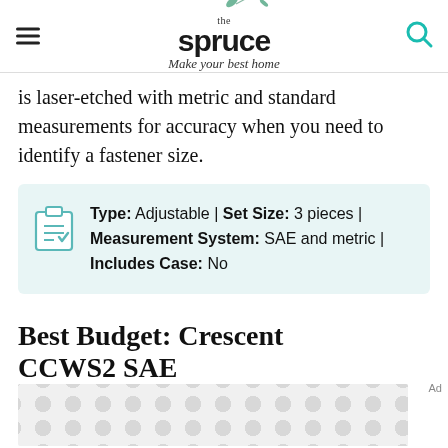the spruce — Make your best home
is laser-etched with metric and standard measurements for accuracy when you need to identify a fastener size.
Type: Adjustable | Set Size: 3 pieces | Measurement System: SAE and metric | Includes Case: No
Best Budget: Crescent CCWS2 SAE
[Figure (other): Advertisement placeholder with dot/circle pattern]